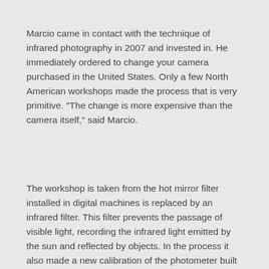Marcio came in contact with the technique of infrared photography in 2007 and invested in. He immediately ordered to change your camera purchased in the United States. Only a few North American workshops made the process that is very primitive. "The change is more expensive than the camera itself," said Marcio.
The workshop is taken from the hot mirror filter installed in digital machines is replaced by an infrared filter. This filter prevents the passage of visible light, recording the infrared light emitted by the sun and reflected by objects. In the process it also made a new calibration of the photometer built into the camera and point of focus, which are often changed in the infrared.